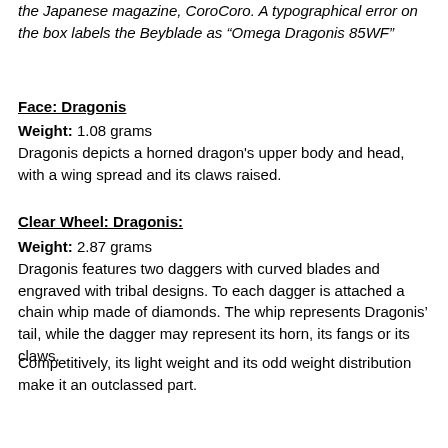the Japanese magazine, CoroCoro. A typographical error on the box labels the Beyblade as “Omega Dragonis 85WF”
Face: Dragonis
Weight: 1.08 grams
Dragonis depicts a horned dragon's upper body and head, with a wing spread and its claws raised.
Clear Wheel: Dragonis:
Weight: 2.87 grams
Dragonis features two daggers with curved blades and engraved with tribal designs. To each dagger is attached a chain whip made of diamonds. The whip represents Dragonis’ tail, while the dagger may represent its horn, its fangs or its claws.
Competitively, its light weight and its odd weight distribution make it an outclassed part.
4D Metal Wheel: Omega:
Weight: 37.83 grams
Omega is comprised of two parts; a Core and a Frame. It can switch between two modes, Assault and Barrage, by rotating the Frame on the Core.
Core:
Weight: 25.30 grams
The Core is...